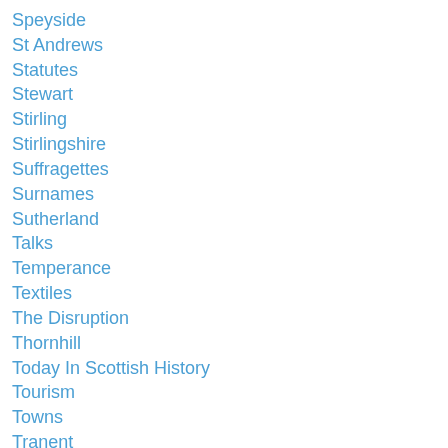Speyside
St Andrews
Statutes
Stewart
Stirling
Stirlingshire
Suffragettes
Surnames
Sutherland
Talks
Temperance
Textiles
The Disruption
Thornhill
Today In Scottish History
Tourism
Towns
Tranent
Transportation
Transport History
United Presbyterian Church